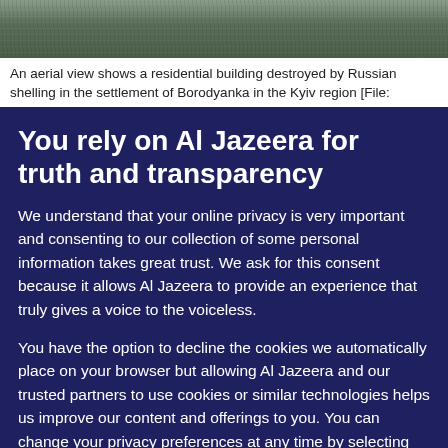[Figure (photo): Aerial view of a destroyed residential building, appears to show rubble and ruins, dark and grey tones]
An aerial view shows a residential building destroyed by Russian shelling in the settlement of Borodyanka in the Kyiv region [File:
You rely on Al Jazeera for truth and transparency
We understand that your online privacy is very important and consenting to our collection of some personal information takes great trust. We ask for this consent because it allows Al Jazeera to provide an experience that truly gives a voice to the voiceless.
You have the option to decline the cookies we automatically place on your browser but allowing Al Jazeera and our trusted partners to use cookies or similar technologies helps us improve our content and offerings to you. You can change your privacy preferences at any time by selecting ‘Cookie preferences’ at the bottom of your screen. To learn more, please view our Cookie Policy.